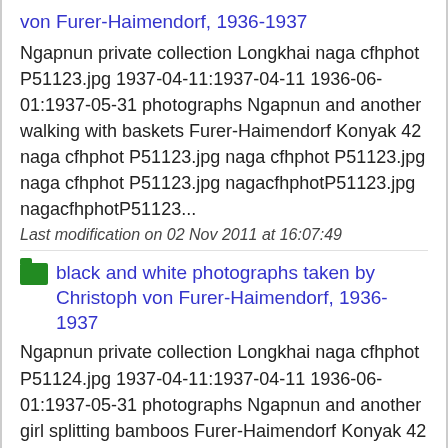black and white photographs taken by Christoph von Furer-Haimendorf, 1936-1937
Ngapnun private collection Longkhai naga cfhphot P51123.jpg 1937-04-11:1937-04-11 1936-06-01:1937-05-31 photographs Ngapnun and another walking with baskets Furer-Haimendorf Konyak 42 naga cfhphot P51123.jpg naga cfhphot P51123.jpg naga cfhphot P51123.jpg nagacfhphotP51123.jpg nagacfhphotP51123...
Last modification on 02 Nov 2011 at 16:07:49
black and white photographs taken by Christoph von Furer-Haimendorf, 1936-1937
Ngapnun private collection Longkhai naga cfhphot P51124.jpg 1937-04-11:1937-04-11 1936-06-01:1937-05-31 photographs Ngapnun and another girl splitting bamboos Furer-Haimendorf Konyak 42 naga cfhphot P51124.jpg naga cfhphot P51124.jpg naga cfhphot